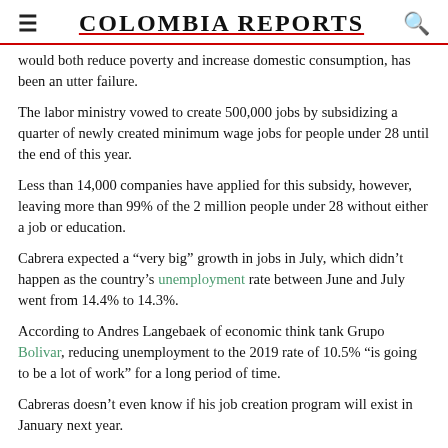COLOMBIA REPORTS
would both reduce poverty and increase domestic consumption, has been an utter failure.
The labor ministry vowed to create 500,000 jobs by subsidizing a quarter of newly created minimum wage jobs for people under 28 until the end of this year.
Less than 14,000 companies have applied for this subsidy, however, leaving more than 99% of the 2 million people under 28 without either a job or education.
Cabrera expected a "very big" growth in jobs in July, which didn't happen as the country's unemployment rate between June and July went from 14.4% to 14.3%.
According to Andres Langebaek of economic think tank Grupo Bolivar, reducing unemployment to the 2019 rate of 10.5% "is going to be a lot of work" for a long period of time.
Cabreras doesn't even know if his job creation program will exist in January next year.